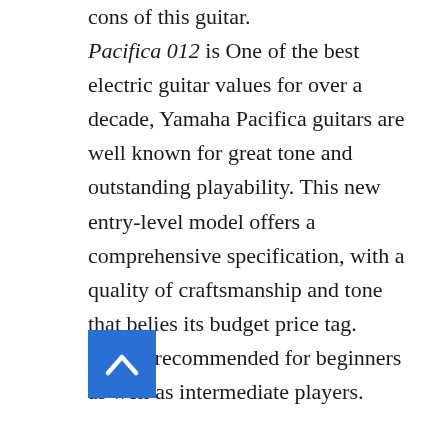cons of this guitar. Pacifica 012 is One of the best electric guitar values for over a decade, Yamaha Pacifica guitars are well known for great tone and outstanding playability. This new entry-level model offers a comprehensive specification, with a quality of craftsmanship and tone that belies its budget price tag.  Highly recommended for beginners as well as intermediate players.
[Figure (other): Blue square button with a white upward-pointing chevron/caret arrow icon in the center]